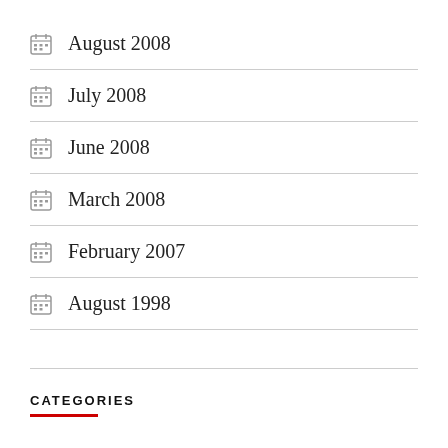August 2008
July 2008
June 2008
March 2008
February 2007
August 1998
CATEGORIES